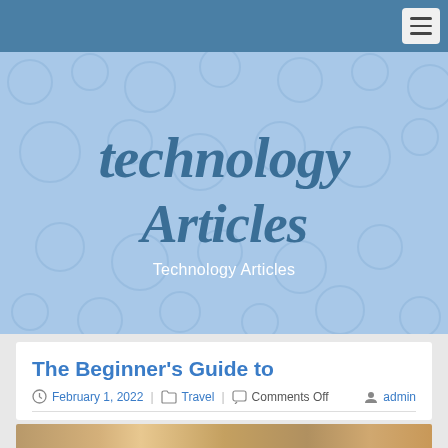technology Articles
Technology Articles
The Beginner's Guide to
February 1, 2022  Travel  Comments Off  admin
[Figure (photo): Thumbnail image strip at the bottom of the article card]